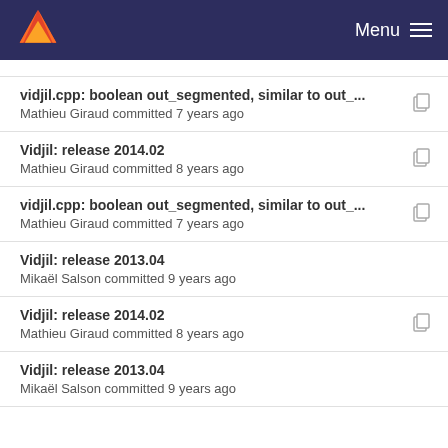Menu
vidjil.cpp: boolean out_segmented, similar to out_... | Mathieu Giraud committed 7 years ago
Vidjil: release 2014.02 | Mathieu Giraud committed 8 years ago
vidjil.cpp: boolean out_segmented, similar to out_... | Mathieu Giraud committed 7 years ago
Vidjil: release 2013.04 | Mikaël Salson committed 9 years ago
Vidjil: release 2014.02 | Mathieu Giraud committed 8 years ago
Vidjil: release 2013.04 | Mikaël Salson committed 9 years ago